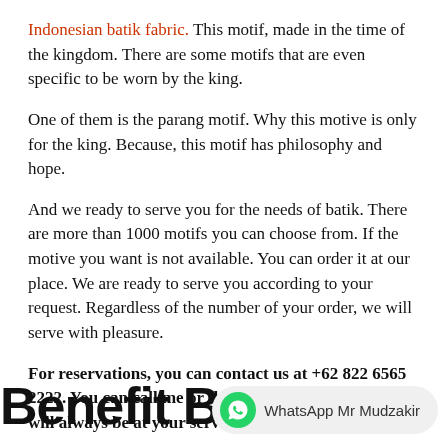Indonesian batik fabric. This motif, made in the time of the kingdom. There are some motifs that are even specific to be worn by the king.
One of them is the parang motif. Why this motive is only for the king. Because, this motif has philosophy and hope.
And we ready to serve you for the needs of batik. There are more than 1000 motifs you can choose from. If the motive you want is not available. You can order it at our place. We are ready to serve you according to your request. Regardless of the number of your order, we will serve with pleasure.
For reservations, you can contact us at +62 822 6565 2222. You can call me or through whatsapp. And I will always be at your service for 24 hours.
Benefit Batik fab...
[Figure (other): WhatsApp chat bubble with icon and text 'WhatsApp Mr Mudzakir']